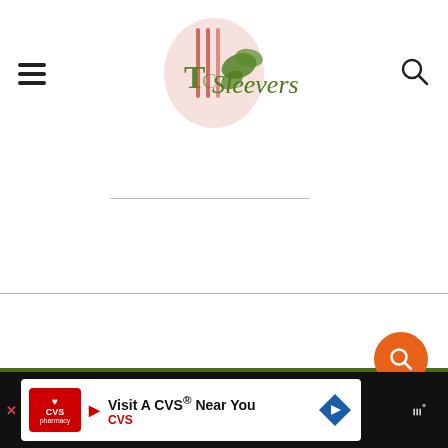[Figure (logo): TwoSleevers website header with logo showing stylized fork/spoon with vegetables and 'TwoSleevers' text in decorative font]
ABOUT TWOSLEEVERS
Recipes
About Urvashi
Urvashi's Cookbooks
Recipe Videos
Shop My Favorite Items
[Figure (screenshot): CVS Pharmacy advertisement banner: 'Visit A CVS® Near You' with CVS logo and navigation arrow icon]